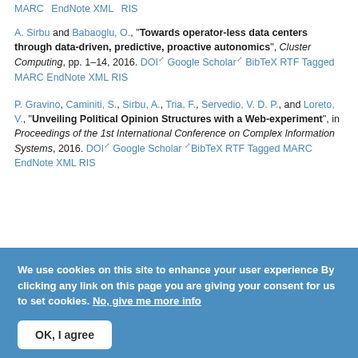MARC  EndNote XML  RIS
A. Sirbu and Babaoglu, O., "Towards operator-less data centers through data-driven, predictive, proactive autonomics", Cluster Computing, pp. 1–14, 2016. DOI  Google Scholar  BibTeX  RTF  Tagged  MARC  EndNote XML  RIS
P. Gravino, Caminiti, S., Sirbu, A., Tria, F., Servedio, V. D. P., and Loreto, V., "Unveiling Political Opinion Structures with a Web-experiment", in Proceedings of the 1st International Conference on Complex Information Systems, 2016. DOI  Google Scholar  BibTeX  RTF  Tagged  MARC  EndNote XML  RIS
We use cookies on this site to enhance your user experience By clicking any link on this page you are giving your consent for us to set cookies. No, give me more info